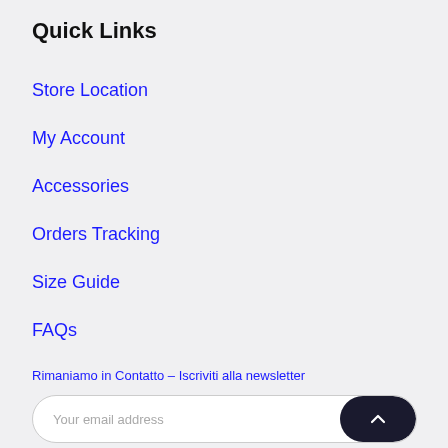Quick Links
Store Location
My Account
Accessories
Orders Tracking
Size Guide
FAQs
Rimaniamo in Contatto – Iscriviti alla newsletter
Your email address